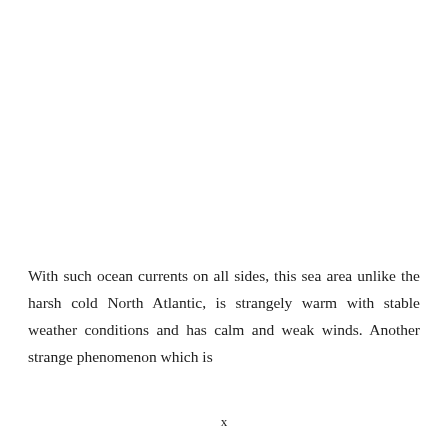With such ocean currents on all sides, this sea area unlike the harsh cold North Atlantic, is strangely warm with stable weather conditions and has calm and weak winds. Another strange phenomenon which is
x